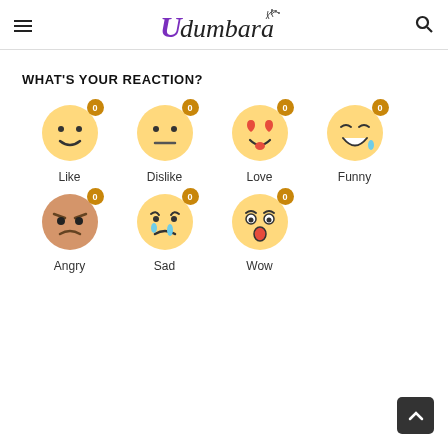Udumbara
WHAT'S YOUR REACTION?
[Figure (illustration): Seven emoji reaction buttons arranged in two rows. Row 1: Like (smile emoji, count 0), Dislike (neutral emoji, count 0), Love (heart-eyes emoji, count 0), Funny (laughing-crying emoji, count 0). Row 2: Angry (angry emoji, count 0), Sad (crying emoji, count 0), Wow (surprised emoji, count 0). Each emoji has an orange badge showing 0, and a text label below.]